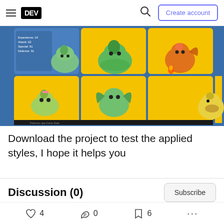DEV — Create account
[Figure (screenshot): Screenshot of a Pokemon card application showing a grid of Pokemon characters (Bulbasaur, Ivysaur, Charizard, Caterpie, Flygon-like, Snubbull, Abra) on yellow and blue backgrounds with stats panel visible]
Download the project to test the applied styles, I hope it helps you
Discussion (0)
Add to the discussion
4 likes, 0 reactions, 6 bookmarks